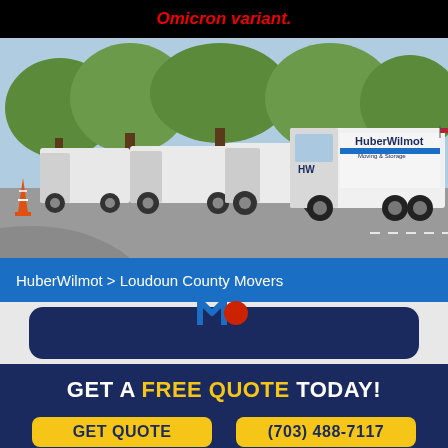Omicron variant.
[Figure (photo): Fleet of white HuberWilmot Moving & Storage trucks parked in a lot with trees in the background and an orange traffic cone visible on the left.]
HuberWilmot > Loudoun County Movers
[Figure (logo): HuberWilmot logo icon (blue and red stylized M shape) on a dark blue rounded card.]
GET A FREE QUOTE TODAY!
GET QUOTE
(703) 488-7117